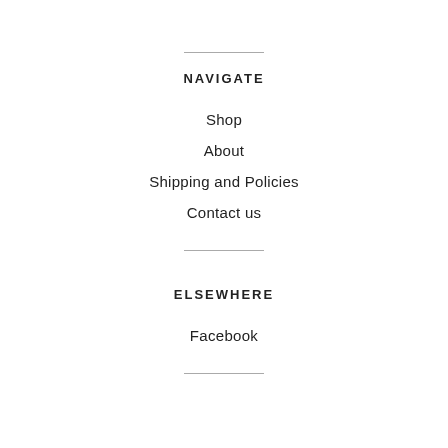NAVIGATE
Shop
About
Shipping and Policies
Contact us
ELSEWHERE
Facebook